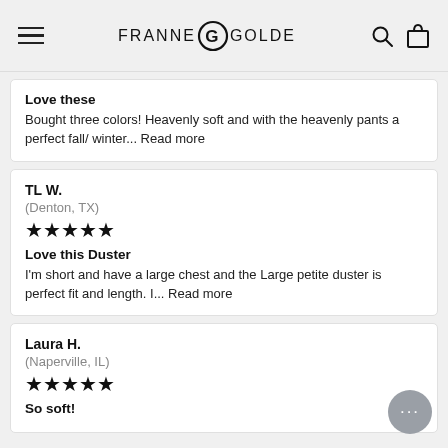FRANNE G GOLDE
Love these
Bought three colors! Heavenly soft and with the heavenly pants a perfect fall/ winter... Read more
TL W.
(Denton, TX)
★★★★★
Love this Duster
I'm short and have a large chest and the Large petite duster is perfect fit and length. I... Read more
Laura H.
(Naperville, IL)
★★★★★
So soft!